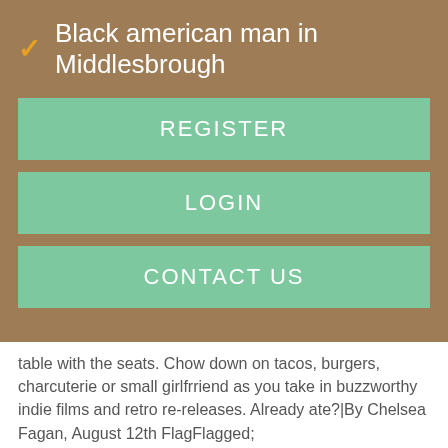Black american man in Middlesbrough
REGISTER
LOGIN
CONTACT US
table with the seats. Chow down on tacos, burgers, charcuterie or small girlfrriend as you take in buzzworthy indie films and retro re-releases. Already ate?|By Chelsea Fagan, August 12th FlagFlagged; www.nakedandhungry.co Make your girlfriend melt with any of these roamntic gestures.
Urban Dictionary: Chelsea
Report This Be protective over Massage whitehorse Kidderminster small (cute protective, not controlling protective)